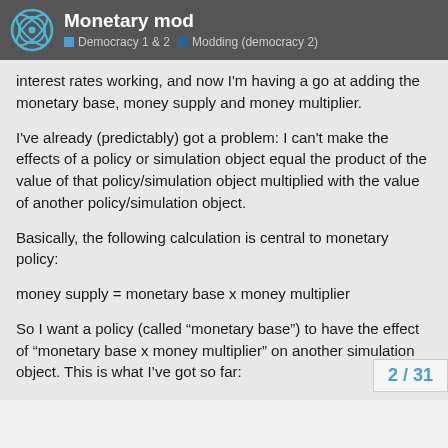Monetary mod — Democracy 1 & 2 | Modding (democracy 2)
interest rates working, and now I'm having a go at adding the monetary base, money supply and money multiplier.
I've already (predictably) got a problem: I can't make the effects of a policy or simulation object equal the product of the value of that policy/simulation object multiplied with the value of another policy/simulation object.
Basically, the following calculation is central to monetary policy:
money supply = monetary base x money multiplier
So I want a policy (called “monetary base”) to have the effect of “monetary base x money multiplier” on another simulation object. This is what I've got so far:
#,MonetaryBase,Monetary Base,MonetaryBase,“The monetary base is the quantity of notes a circulation plus the quantity held by the b
2 / 31